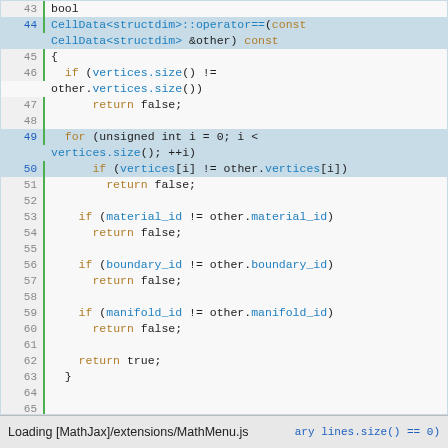[Figure (screenshot): Code viewer showing C++ source code lines 43–71 with syntax highlighting. Line numbers on left, green vertical bar border, highlighted rows for lines 44, 49, 50, 68. Keywords in orange/gold, function/type names in blue. Bottom status bar shows 'Loading [MathJax]/extensions/MathMenu.js' with partial last line visible.]